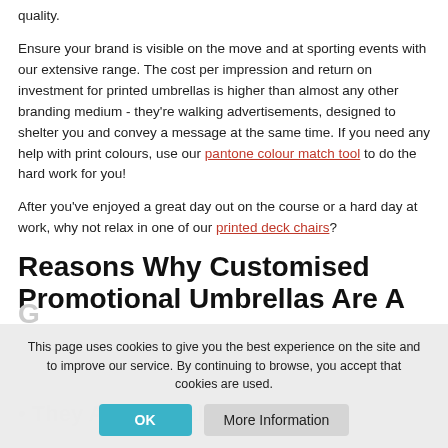quality.
Ensure your brand is visible on the move and at sporting events with our extensive range. The cost per impression and return on investment for printed umbrellas is higher than almost any other branding medium - they're walking advertisements, designed to shelter you and convey a message at the same time. If you need any help with print colours, use our pantone colour match tool to do the hard work for you!
After you've enjoyed a great day out on the course or a hard day at work, why not relax in one of our printed deck chairs?
Reasons Why Customised Promotional Umbrellas Are A
G...
• They Add A... d Value
This page uses cookies to give you the best experience on the site and to improve our service. By continuing to browse, you accept that cookies are used.